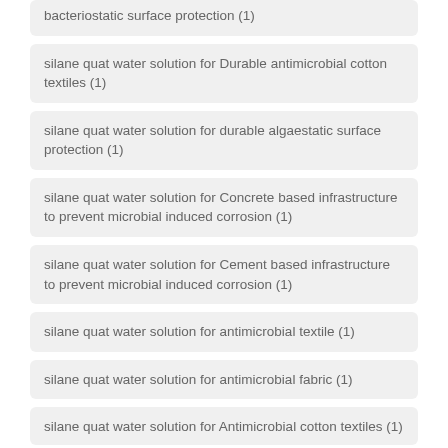bacteriostatic surface protection (1)
silane quat water solution for Durable antimicrobial cotton textiles (1)
silane quat water solution for durable algaestatic surface protection (1)
silane quat water solution for Concrete based infrastructure to prevent microbial induced corrosion (1)
silane quat water solution for Cement based infrastructure to prevent microbial induced corrosion (1)
silane quat water solution for antimicrobial textile (1)
silane quat water solution for antimicrobial fabric (1)
silane quat water solution for Antimicrobial cotton textiles (1)